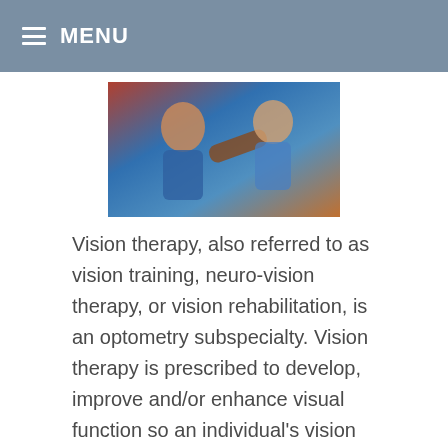MENU
[Figure (photo): Photo of children during a vision therapy session, showing a child and adult interacting]
Vision therapy, also referred to as vision training, neuro-vision therapy, or vision rehabilitation, is an optometry subspecialty. Vision therapy is prescribed to develop, improve and/or enhance visual function so an individual's vision system functions more smoothly. Vision therapy can be beneficial
Read more
How It Helps
Category: What is Vision Therapy